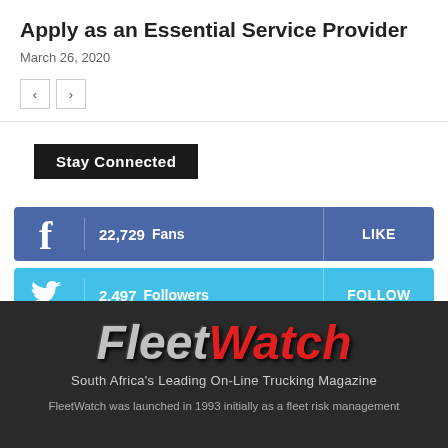Apply as an Essential Service Provider
March 26, 2020
[Figure (screenshot): Navigation prev/next arrow buttons]
Stay Connected
[Figure (infographic): Facebook social bar: 22,729 Fans | LIKE]
[Figure (infographic): Twitter social bar: 2,497 Followers | FOLLOW]
[Figure (infographic): YouTube social bar: 1,080 Subscribers | SUBSCRIBE]
[Figure (logo): FleetWatch logo — South Africa's Leading On-Line Trucking Magazine]
FleetWatch was launched in 1993 initially as a fleet risk management